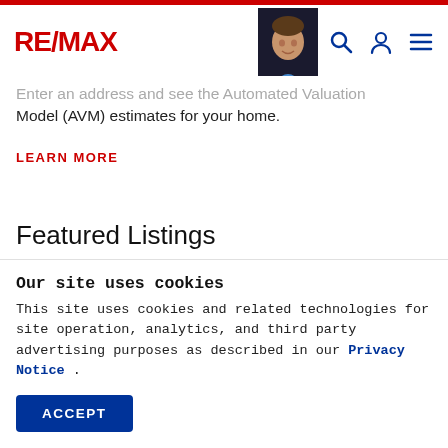RE/MAX
Enter an address and see the Automated Valuation Model (AVM) estimates for your home.
LEARN MORE
Featured Listings
Our site uses cookies
This site uses cookies and related technologies for site operation, analytics, and third party advertising purposes as described in our Privacy Notice .
ACCEPT